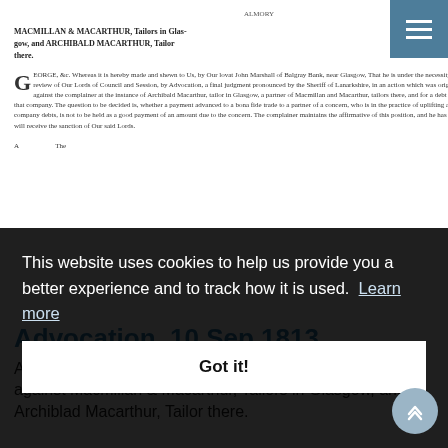[Figure (photo): Scanned page of a historical legal document showing parties 'MACMILLAN & MACARTHUR, Tailors in Glasgow, and ARCHIBALD MACARTHUR, Tailor there.' with body text beginning with drop capital G, concerning Advocation proceedings.]
Advocation, 10 Sep 1813
Advocation John Marshall of Balgray Bank, near Glasgow; against Macmillan & Macarthur, Tailors in Glasgow, and Archiblad Macarthur, Tailor there.
This website uses cookies to help us provide you a better experience and to track how it is used.  Learn more
Got it!